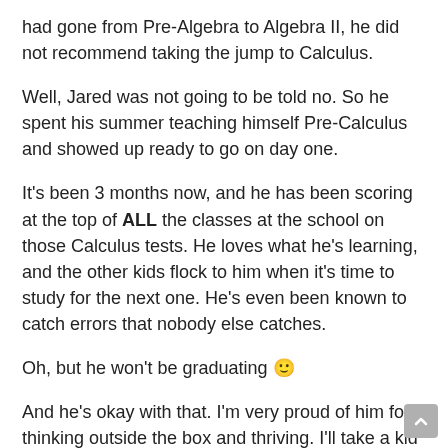had gone from Pre-Algebra to Algebra II, he did not recommend taking the jump to Calculus.
Well, Jared was not going to be told no. So he spent his summer teaching himself Pre-Calculus and showed up ready to go on day one.
It's been 3 months now, and he has been scoring at the top of ALL the classes at the school on those Calculus tests. He loves what he's learning, and the other kids flock to him when it's time to study for the next one. He's even been known to catch errors that nobody else catches.
Oh, but he won't be graduating 🙂
And he's okay with that. I'm very proud of him for thinking outside the box and thriving. I'll take a kid who loves learning and spends every waking moment honing his skills over a kid who jumps through all the hoops to get a diploma but remembers school with disdain. Jared will